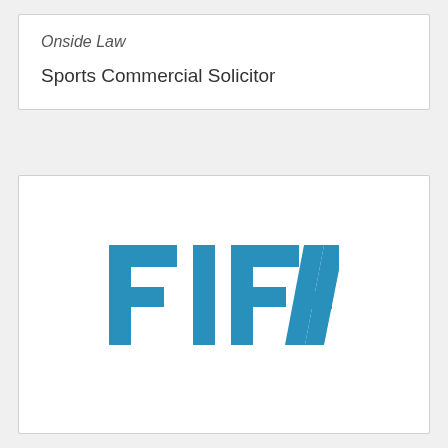Onside Law
Sports Commercial Solicitor
[Figure (logo): FIFA logo in blue with registered trademark symbol]